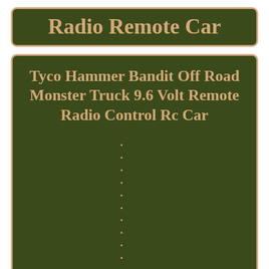Radio Remote Car
Tyco Hammer Bandit Off Road Monster Truck 9.6 Volt Remote Radio Control Rc Car
•
•
•
•
•
•
•
•
•
•
•